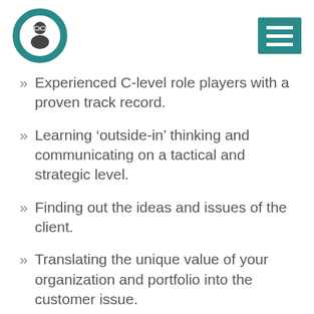[Logo and navigation menu]
Experienced C-level role players with a proven track record.
Learning ‘outside-in’ thinking and communicating on a tactical and strategic level.
Finding out the ideas and issues of the client.
Translating the unique value of your organization and portfolio into the customer issue.
‘Shaping’ the question and the